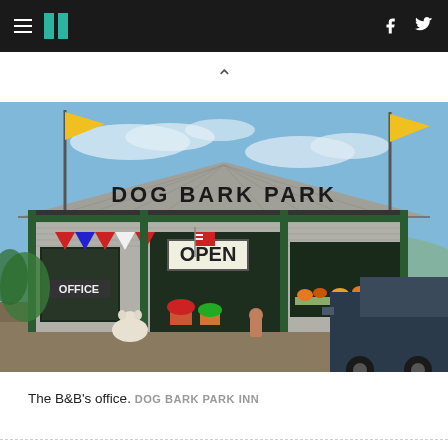HuffPost navigation with hamburger menu, logo, Facebook and Twitter icons
[Figure (photo): Exterior photo of Dog Bark Park B&B office building with corrugated metal siding, green trim, yellow flags, OPEN sign, patriotic bunting, flowers, dogs in foreground, and a pickup truck on the right.]
The B&B's office. DOG BARK PARK INN